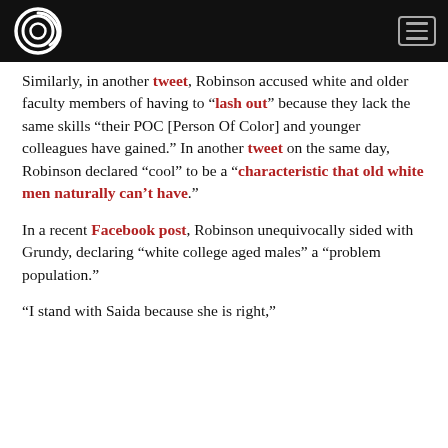[Logo: The Daily Caller] [Menu button]
Similarly, in another tweet, Robinson accused white and older faculty members of having to “lash out” because they lack the same skills “their POC [Person Of Color] and younger colleagues have gained.” In another tweet on the same day, Robinson declared “cool” to be a “characteristic that old white men naturally can’t have”.
In a recent Facebook post, Robinson unequivocally sided with Grundy, declaring “white college aged males” a “problem population.”
“I stand with Saida because she is right,”